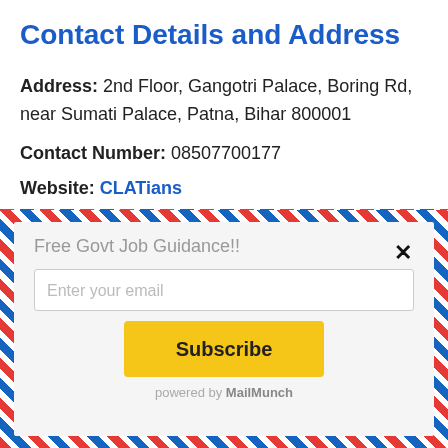Contact Details and Address
Address: 2nd Floor, Gangotri Palace, Boring Rd, near Sumati Palace, Patna, Bihar 800001
Contact Number: 08507700177
Website: CLATians
[Figure (infographic): Email subscription popup with airmail diagonal stripe border on light gray background. Contains text 'Free Govt Job Guidance!!', an email input field labeled 'Enter your email', a yellow Subscribe button, a close X button, and 'powered by MailMunch' footer text.]